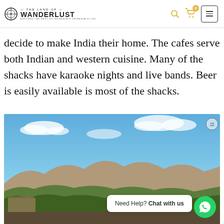THE LAND OF WANDERLUST
decide to make India their home. The cafes serve both Indian and western cuisine. Many of the shacks have karaoke nights and live bands. Beer is easily available is most of the shacks.
[Figure (photo): Landscape photo of rocky hills and green vegetation under a blue sky with scattered clouds, appears to be Hampi, India. A WhatsApp chat widget is overlaid at the bottom right with text 'Need Help? Chat with us'.]